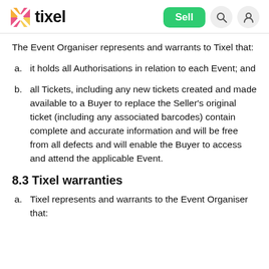tixel — Sell, Search, Account
The Event Organiser represents and warrants to Tixel that:
a. it holds all Authorisations in relation to each Event; and
b. all Tickets, including any new tickets created and made available to a Buyer to replace the Seller's original ticket (including any associated barcodes) contain complete and accurate information and will be free from all defects and will enable the Buyer to access and attend the applicable Event.
8.3 Tixel warranties
a. Tixel represents and warrants to the Event Organiser that: